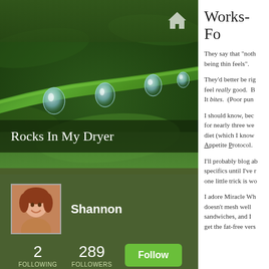[Figure (photo): Close-up photo of green plant stem with water droplets hanging from it, on dark green bokeh background]
Rocks In My Dryer
[Figure (photo): Profile photo of Shannon, a smiling woman with reddish-brown hair]
Shannon
2 FOLLOWING  289 FOLLOWERS  Follow
Works-Fo
They say that "noth being thin feels".
They'd better be rig feel really good. B It bites. (Poor pun
I should know, bec for nearly three we diet (which I know Appetite Protocol.
I'll probably blog ab specifics until I've r one little trick is wo
I adore Miracle Wh doesn't mesh well sandwiches, and I get the fat-free vers